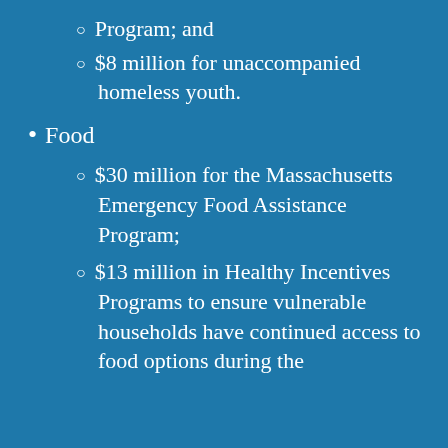Program; and
$8 million for unaccompanied homeless youth.
Food
$30 million for the Massachusetts Emergency Food Assistance Program;
$13 million in Healthy Incentives Programs to ensure vulnerable households have continued access to food options during the